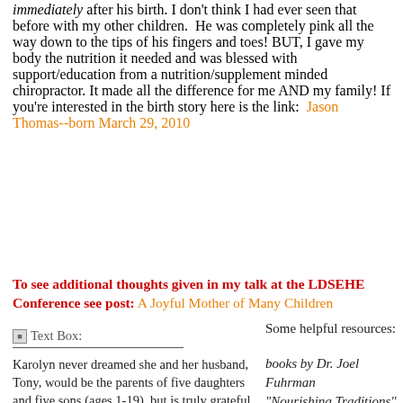immediately after his birth. I don't think I had ever seen that before with my other children. He was completely pink all the way down to the tips of his fingers and toes! BUT, I gave my body the nutrition it needed and was blessed with support/education from a nutrition/supplement minded chiropractor. It made all the difference for me AND my family! If you're interested in the birth story here is the link: Jason Thomas--born March 29, 2010
To see additional thoughts given in my talk at the LDSEHE Conference see post: A Joyful Mother of Many Children
Text Box:
Some helpful resources:
Karolyn never dreamed she and her husband, Tony, would be the parents of five daughters and five sons (ages 1-19), but is truly grateful for the daily joys,
books by Dr. Joel Fuhrman "Nourishing Traditions" by Sally Fallon